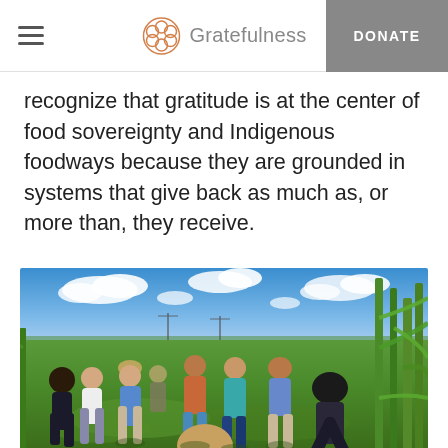Gratefulness — DONATE
recognize that gratitude is at the center of food sovereignty and Indigenous foodways because they are grounded in systems that give back as much as, or more than, they receive.
[Figure (photo): Group of people standing in a green agricultural field with corn and other crops, under a blue sky with clouds. Several individuals appear to be having a discussion or tour of the farm.]